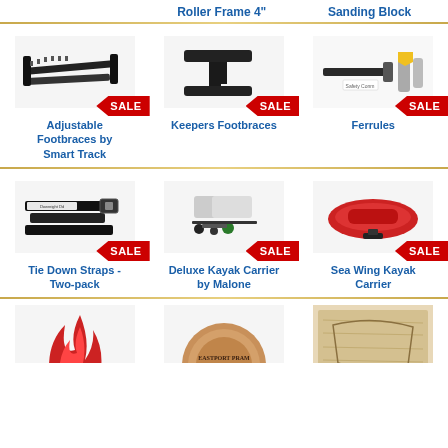Roller Frame 4"
Sanding Block
[Figure (photo): Adjustable Footbraces by Smart Track with SALE tag]
Adjustable Footbraces by Smart Track
[Figure (photo): Keepers Footbraces with SALE tag]
Keepers Footbraces
[Figure (photo): Ferrules with SALE tag]
Ferrules
[Figure (photo): Tie Down Straps two-pack with SALE tag]
Tie Down Straps - Two-pack
[Figure (photo): Deluxe Kayak Carrier by Malone with SALE tag]
Deluxe Kayak Carrier by Malone
[Figure (photo): Sea Wing Kayak Carrier with SALE tag]
Sea Wing Kayak Carrier
[Figure (photo): Partially visible product image bottom row left]
[Figure (photo): Eastport Pram partially visible product image bottom row center]
[Figure (photo): Partially visible product image bottom row right]